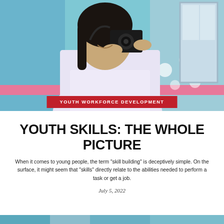[Figure (photo): Young woman smiling and holding a camera up to her face, wearing a white shirt, standing in front of a colorful blue and pink wall with decorative dots]
YOUTH WORKFORCE DEVELOPMENT
YOUTH SKILLS: THE WHOLE PICTURE
When it comes to young people, the term “skill building” is deceptively simple. On the surface, it might seem that “skills” directly relate to the abilities needed to perform a task or get a job.
July 5, 2022